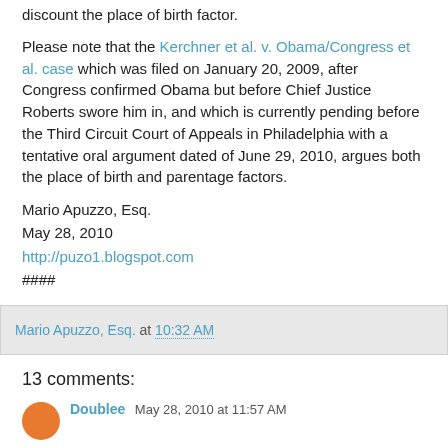discount the place of birth factor.
Please note that the Kerchner et al. v. Obama/Congress et al. case which was filed on January 20, 2009, after Congress confirmed Obama but before Chief Justice Roberts swore him in, and which is currently pending before the Third Circuit Court of Appeals in Philadelphia with a tentative oral argument dated of June 29, 2010, argues both the place of birth and parentage factors.
Mario Apuzzo, Esq.
May 28, 2010
http://puzo1.blogspot.com
####
Mario Apuzzo, Esq. at 10:32 AM
13 comments:
Doublee May 28, 2010 at 11:57 AM